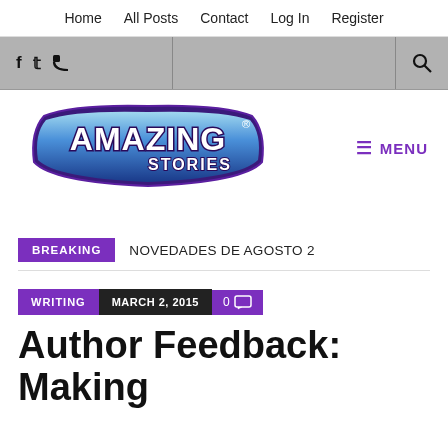Home   All Posts   Contact   Log In   Register
Social icons: Facebook, Twitter, RSS | Search
[Figure (logo): Amazing Stories logo with stylized blue and purple text]
☰ MENU
BREAKING   NOVEDADES DE AGOSTO 2
WRITING   MARCH 2, 2015   0 comments
Author Feedback: Making